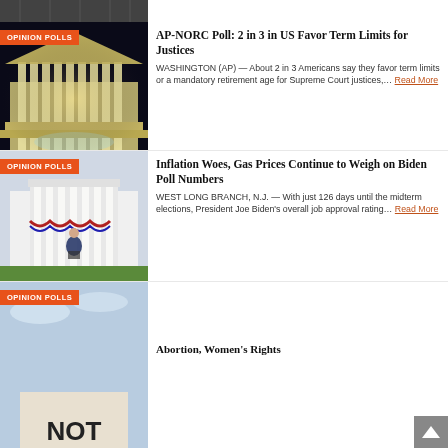[Figure (photo): Cropped bottom of a photo showing people, appears to be a group or crowd scene at top of page]
[Figure (photo): US Supreme Court building illuminated at night with columns and fountain]
AP-NORC Poll: 2 in 3 in US Favor Term Limits for Justices
WASHINGTON (AP) — About 2 in 3 Americans say they favor term limits or a mandatory retirement age for Supreme Court justices,… Read More
[Figure (photo): President Biden speaking at a podium in front of the White House with American flag bunting decorations]
Inflation Woes, Gas Prices Continue to Weigh on Biden Poll Numbers
WEST LONG BRANCH, N.J. — With just 126 days until the midterm elections, President Joe Biden's overall job approval rating… Read More
[Figure (photo): Partial view of a protest sign reading NOT, cropped at bottom of page, sky background]
Abortion, Women's Rights